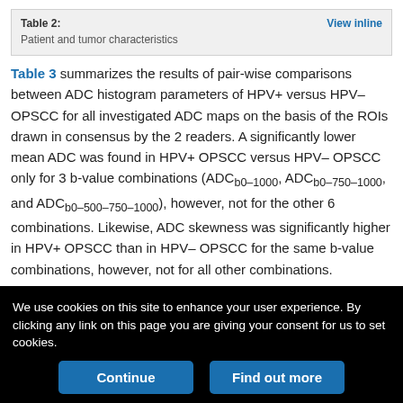Table 3 summarizes the results of pair-wise comparisons between ADC histogram parameters of HPV+ versus HPV– OPSCC for all investigated ADC maps on the basis of the ROIs drawn in consensus by the 2 readers. A significantly lower mean ADC was found in HPV+ OPSCC versus HPV– OPSCC only for 3 b-value combinations (ADCb0–1000, ADCb0–750–1000, and ADCb0–500–750–1000), however, not for the other 6 combinations. Likewise, ADC skewness was significantly higher in HPV+ OPSCC than in HPV– OPSCC for the same b-value combinations, however, not for all other combinations.
We use cookies on this site to enhance your user experience. By clicking any link on this page you are giving your consent for us to set cookies.